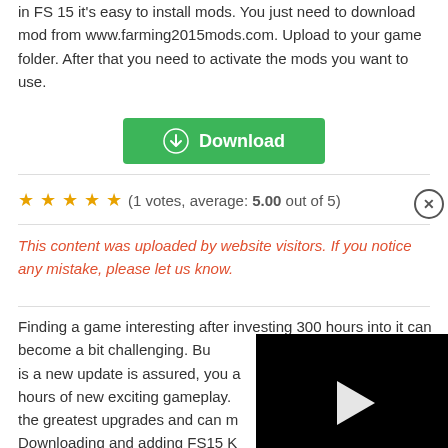in FS 15 it's easy to install mods. You just need to download mod from www.farming2015mods.com. Upload to your game folder. After that you need to activate the mods you want to use.
[Figure (other): Green Download button with download icon]
(1 votes, average: 5.00 out of 5)
This content was uploaded by website visitors. If you notice any mistake, please let us know.
Finding a game interesting after investing 300 hours into it can become a bit challenging. But when there is a new update is assured, you are getting hours of new exciting gameplay. Mods are one of the greatest upgrades and can make FS different. Downloading and adding FS15 KR... Mod to your game is not difficult at all - you simply need to save a file and run it. Each Farming Simulator Mod will provide you with particular options so go ahead and add it to your
[Figure (other): Black video player overlay with play button and close button]